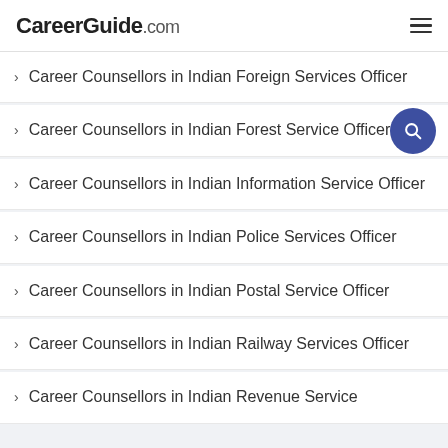CareerGuide.com
Career Counsellors in Indian Foreign Services Officer
Career Counsellors in Indian Forest Service Officer
Career Counsellors in Indian Information Service Officer
Career Counsellors in Indian Police Services Officer
Career Counsellors in Indian Postal Service Officer
Career Counsellors in Indian Railway Services Officer
Career Counsellors in Indian Revenue Service